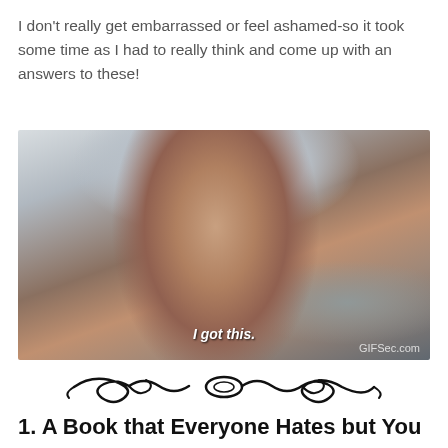I don't really get embarrassed or feel ashamed-so it took some time as I had to really think and come up with an answers to these!
[Figure (photo): A man with dark hair wearing a tan jacket looking directly at the camera, with a subtitle 'I got this.' and GIFSec.com watermark in the bottom right corner.]
[Figure (illustration): Decorative black ornamental divider with swirling scroll designs.]
1. A Book that Everyone Hates but You